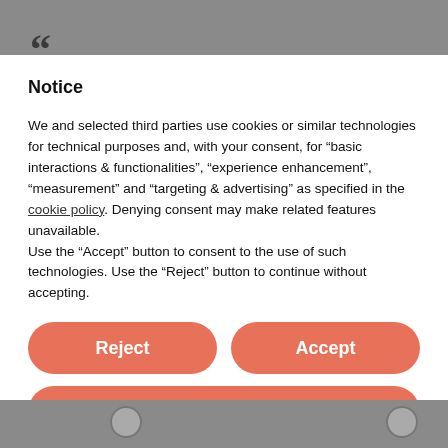Notice
We and selected third parties use cookies or similar technologies for technical purposes and, with your consent, for “basic interactions & functionalities”, “experience enhancement”, “measurement” and “targeting & advertising” as specified in the cookie policy. Denying consent may make related features unavailable.
Use the “Accept” button to consent to the use of such technologies. Use the “Reject” button to continue without accepting.
Reject
Accept
Learn more and customize